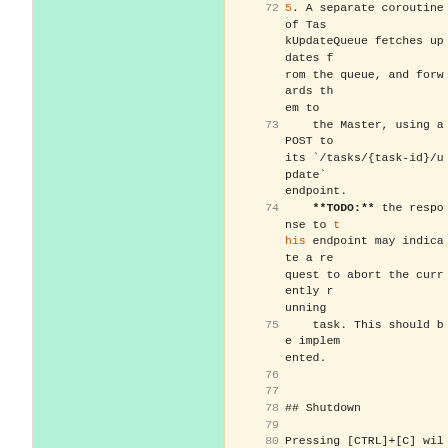72: 5. A separate coroutine of TaskUpdateQueue fetches updates from the queue, and forwards them to
73:     the Master, using a POST to its `/tasks/{task-id}/update` endpoint.
74:     **TODO:** the response to this endpoint may indicate a request to abort the currently running
75:     task. This should be implemented.
76: (empty)
77: (empty)
78: ## Shutdown
79: (empty)
80: Pressing [CTRL]+[C] will cause a clean shutdown of the worker.
81: If there is a task currently running, it will be aborted without changing its status. Any pending task updates are sent to the Manager, and then the Manager's `/sign-off` URL is
82: POSTed to, to indicate a clean shutdown of the worker. Any ac